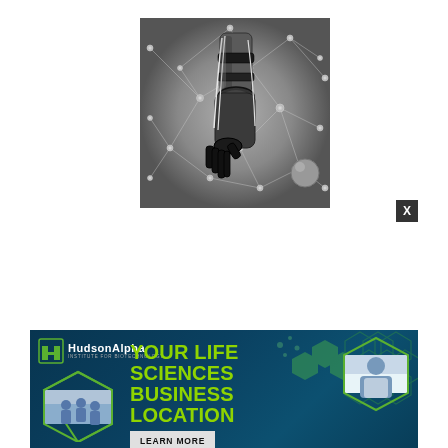[Figure (photo): Black and white photograph of a robotic arm with mechanical fingers/hand extended, surrounded by a network of connected nodes and lines suggesting AI or neural network connectivity]
[Figure (infographic): HudsonAlpha Institute for Biotechnology advertisement banner. Dark teal/navy background with green hexagonal molecular pattern decorations, lab photo in hexagon on left, scientist photo in hexagon on right. Text reads 'YOUR LIFE SCIENCES BUSINESS LOCATION' in bright green, with 'LEARN MORE' button in grey/white. HudsonAlpha logo with stylized 'h' icon top left.]